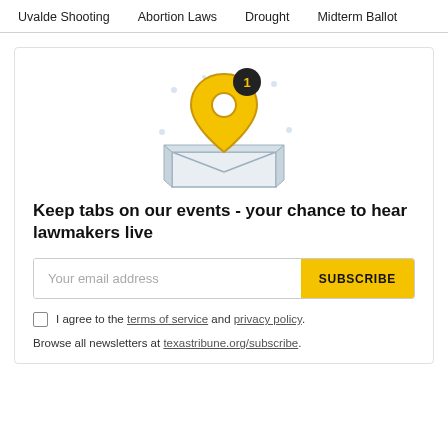Uvalde Shooting   Abortion Laws   Drought   Midterm Ballot
[Figure (illustration): Location pin icon in yellow/orange over an envelope, with a dark badge showing '1', and small dots scattered around]
Keep tabs on our events - your chance to hear lawmakers live
Your email address  [SUBSCRIBE]
I agree to the terms of service and privacy policy.
Browse all newsletters at texastribune.org/subscribe.